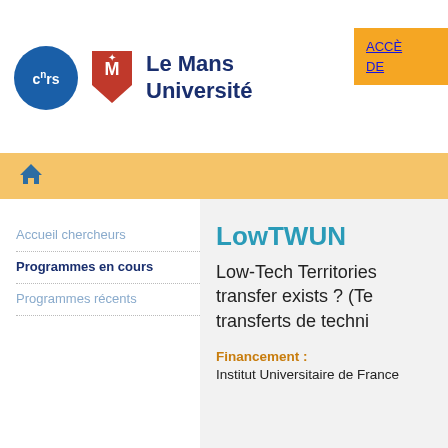[Figure (logo): CNRS and Le Mans Université logos side by side]
ACCÈS DE
[Figure (other): Home navigation icon (house)]
Accueil chercheurs
Programmes en cours
Programmes récents
LowTWUN
Low-Tech Territories transfer exists ? (Te transferts de techni
Financement :
Institut Universitaire de France